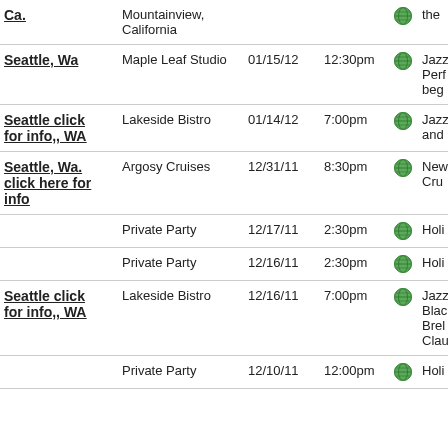| Location | Venue | Date | Time |  | Description |
| --- | --- | --- | --- | --- | --- |
| Ca. | Mountainview, California |  |  | globe | the |
| Seattle, Wa | Maple Leaf Studio | 01/15/12 | 12:30pm | globe | Jazz Perf beg |
| Seattle click for info,, WA | Lakeside Bistro | 01/14/12 | 7:00pm | globe | Jazz and |
| Seattle, Wa. click here for info | Argosy Cruises | 12/31/11 | 8:30pm | globe | New Cru |
|  | Private Party | 12/17/11 | 2:30pm | globe | Holi |
|  | Private Party | 12/16/11 | 2:30pm | globe | Holi |
| Seattle click for info,, WA | Lakeside Bistro | 12/16/11 | 7:00pm | globe | Jazz Blac Brel Clau |
|  | Private Party | 12/10/11 | 12:00pm | globe | Holi |